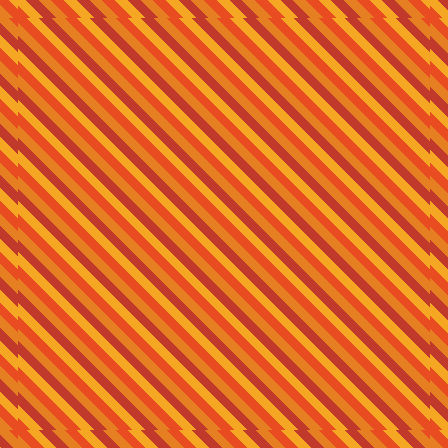[Figure (photo): Colorful blurred streaming service logos (Netflix red, Amazon green) with large white bold text reading 'Creator Likes To Stream']
The streaming power of Netflix and Hulu and Amazon. I've decided to not repost NHAT starting
Privacy & Cookies: This site uses cookies. By continuing to use this website, you agree to their use.
To find out more, including how to control cookies, see here: Cookie Policy
Close and accept
launched